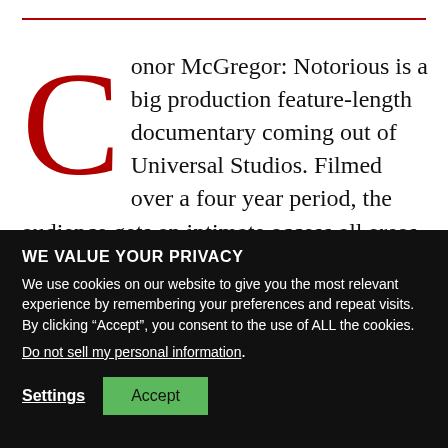Conor McGregor: Notorious is a big production feature-length documentary coming out of Universal Studios. Filmed over a four year period, the audience gets an intimate access all areas experience. A notable point is that McGregor was the executive
WE VALUE YOUR PRIVACY
We use cookies on our website to give you the most relevant experience by remembering your preferences and repeat visits. By clicking “Accept”, you consent to the use of ALL the cookies.
Do not sell my personal information.
Settings   Accept